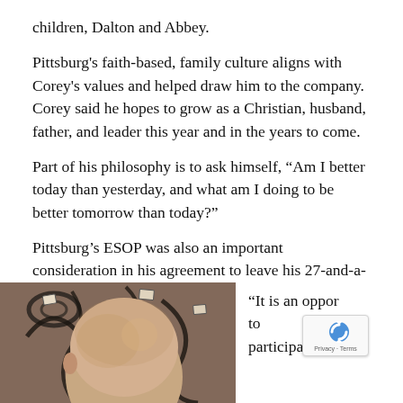children, Dalton and Abbey.
Pittsburg's faith-based, family culture aligns with Corey's values and helped draw him to the company. Corey said he hopes to grow as a Christian, husband, father, and leader this year and in the years to come.
Part of his philosophy is to ask himself, “Am I better today than yesterday, and what am I doing to be better tomorrow than today?”
Pittsburg’s ESOP was also an important consideration in his agreement to leave his 27-and-a-half-year career at Brenntag.
[Figure (photo): Close-up photo of a bald man's head from above/behind, with decorative wrought iron scrollwork visible in the background. Various tags or labels appear to be attached to the ironwork.]
“It is an oppo… to participate